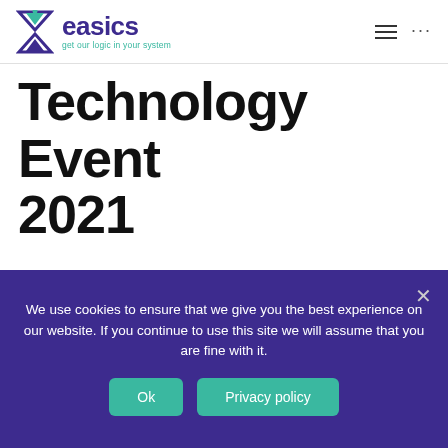[Figure (logo): easics logo with hourglass/triangle icon and tagline 'get our logic in your system']
Technology Event 2021
March 9, 2021  381 views
Date: 09/03/2021 Location: Online EMECS (ElectroMechanics, Electronics and Computer Sciences) is a joint venture between CenEka (Computer Science and
We use cookies to ensure that we give you the best experience on our website. If you continue to use this site we will assume that you are fine with it.